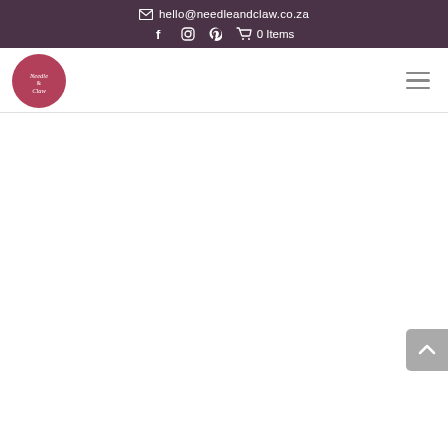✉ hello@needleandclaw.co.za
[Figure (screenshot): Needle and Claw e-commerce website header with dark purple top bar showing email, social media icons (Facebook, Instagram, Pinterest), cart with 0 Items, logo, and hamburger menu]
[Figure (logo): Needle and Claw circular logo in dark rose/pink color with script text 'Needle & Claw']
[Figure (other): Scroll-to-top button (grey rounded rectangle with up chevron arrow) in bottom right corner]